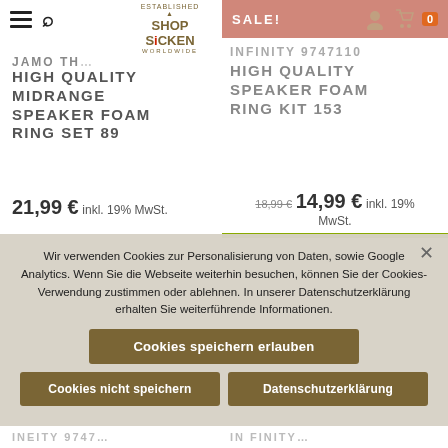[Figure (screenshot): Shop Sicken worldwide logo with hamburger menu and search icon]
JAMO TH...
HIGH QUALITY MIDRANGE SPEAKER FOAM RING SET 89
21,99 € inkl. 19% MwSt.
[Figure (screenshot): SALE banner with user and cart icons showing 0 items]
INFINITY 9747110
HIGH QUALITY SPEAKER FOAM RING KIT 153
18,99 € 14,99 € inkl. 19% MwSt.
Wir verwenden Cookies zur Personalisierung von Daten, sowie Google Analytics. Wenn Sie die Webseite weiterhin besuchen, können Sie der Cookies-Verwendung zustimmen oder ablehnen. In unserer Datenschutzerklärung erhalten Sie weiterführende Informationen.
Cookies speichern erlauben
Cookies nicht speichern
Datenschutzerklärung
INEITY 9747...
IN FINITY...